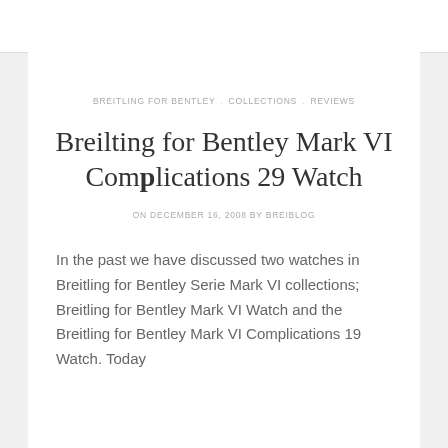BREITLING FOR BENTLEY . COLLECTIONS . REVIEWS
Breilting for Bentley Mark VI Complications 29 Watch
ON DECEMBER 16, 2008 BY BREIBLOG
In the past we have discussed two watches in Breitling for Bentley Serie Mark VI collections; Breitling for Bentley Mark VI Watch and the Breitling for Bentley Mark VI Complications 19 Watch. Today